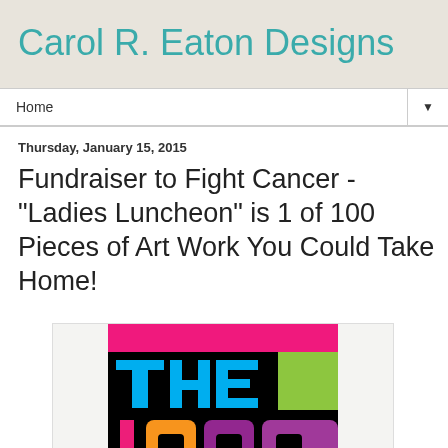Carol R. Eaton Designs
Home
Thursday, January 15, 2015
Fundraiser to Fight Cancer - "Ladies Luncheon" is 1 of 100 Pieces of Art Work You Could Take Home!
[Figure (illustration): Colorful graphic showing 'THE 100' text on a black background with pink top bar and green square accent, orange '1', cyan/blue 'THE', purple/magenta '00']